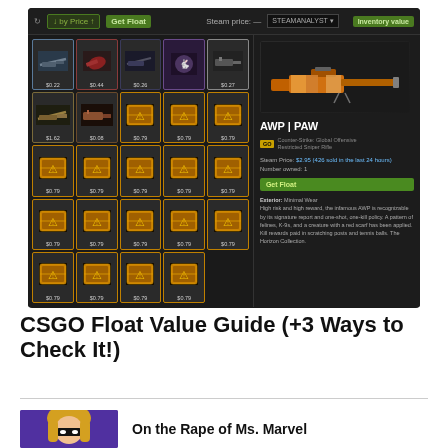[Figure (screenshot): Screenshot of CSGOFloat web tool showing a CS:GO inventory with items including an AWP | PAW sniper rifle selected. The interface shows a dark-themed inventory grid with various weapon skins and yellow crates, plus a detail panel on the right showing the AWP | PAW with Steam Price $2.95 (426 sold in the last 24 hours), Number owned: 1, Exterior: Minimal Wear, and a description about the AWP being part of the Horizon Collection.]
CSGO Float Value Guide (+3 Ways to Check It!)
On the Rape of Ms. Marvel